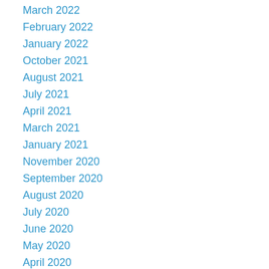March 2022
February 2022
January 2022
October 2021
August 2021
July 2021
April 2021
March 2021
January 2021
November 2020
September 2020
August 2020
July 2020
June 2020
May 2020
April 2020
February 2020
January 2020
December 2019
November 2019